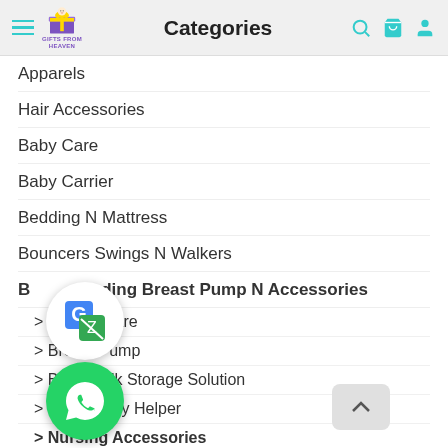Categories
Apparels
Hair Accessories
Baby Care
Baby Carrier
Bedding N Mattress
Bouncers Swings N Walkers
Breastfeeding Breast Pump N Accessories
> Breast Care
> Breast Pump
> Breastmilk Storage Solution
> Milk Supply Helper
> Nursing Accessories
Car Seat
Cot N Playpen